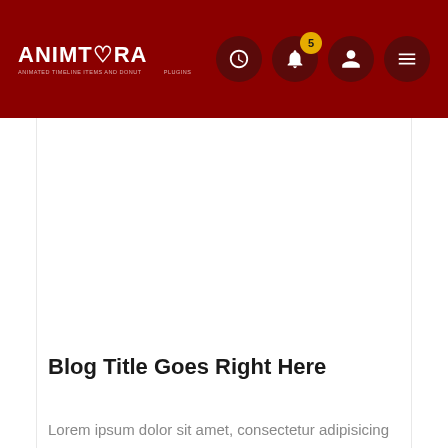ANIMTORA
Blog Title Goes Right Here
Lorem ipsum dolor sit amet, consectetur adipisicing